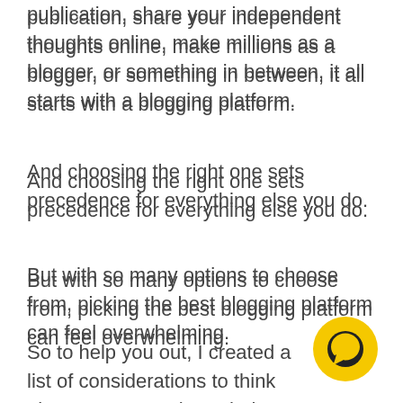publication, share your independent thoughts online, make millions as a blogger, or something in between, it all starts with a blogging platform.
And choosing the right one sets precedence for everything else you do.
But with so many options to choose from, picking the best blogging platform can feel overwhelming.
So to help you out, I created a list of considerations to think about as you go through the process and reviewed the top five blogging platforms on the
[Figure (other): Yellow circular chat/messenger button icon with a dark speech bubble symbol, positioned in the bottom-right corner]